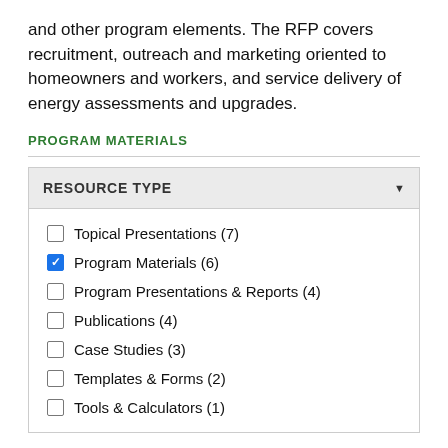and other program elements. The RFP covers recruitment, outreach and marketing oriented to homeowners and workers, and service delivery of energy assessments and upgrades.
PROGRAM MATERIALS
Topical Presentations (7)
Program Materials (6)
Program Presentations & Reports (4)
Publications (4)
Case Studies (3)
Templates & Forms (2)
Tools & Calculators (1)